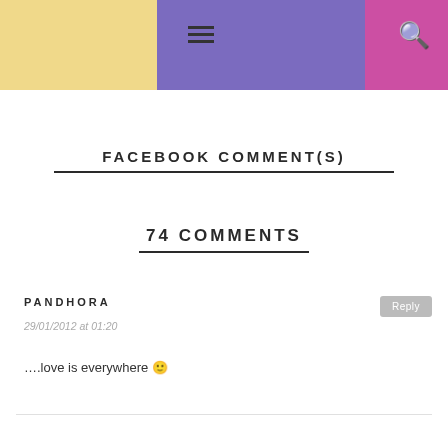≡  🔍
FACEBOOK COMMENT(S)
74 COMMENTS
PANDHORA
29/01/2012 at 01:20
….love is everywhere 🙂